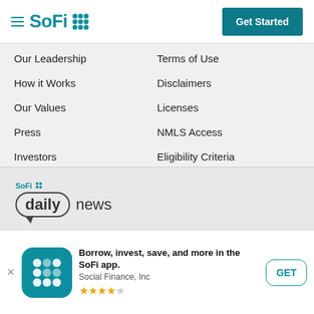[Figure (logo): SoFi logo with hamburger menu and Get Started button]
Our Leadership
Terms of Use
How it Works
Disclaimers
Our Values
Licenses
Press
NMLS Access
Investors
Eligibility Criteria
Careers
ADA Accessibility
Diversity, Equity, and Inclusion
Business Continuity
Contact Us
Blog
FAQs
[Figure (logo): SoFi daily news logo with speech bubble oval]
Borrow, invest, save, and more in the SoFi app. Social Finance, Inc ★★★★½